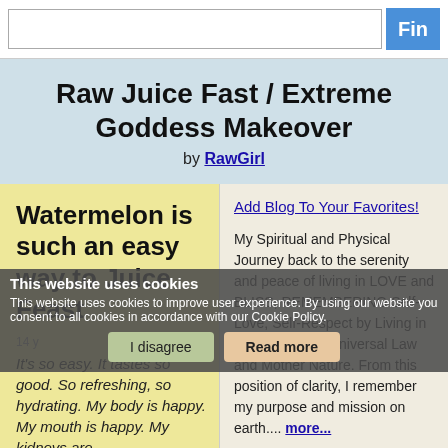Fin [search bar]
Raw Juice Fast / Extreme Goddess Makeover
by RawGirl
Watermelon is such an easy way to Juice Feast
14 y
It's so easy. It tastes so good. So refreshing, so hydrating. My body is happy. My mouth is happy. My kidneys are
Add Blog To Your Favorites!

My Spiritual and Physical Journey back to the serenity and peace of living in LOVE and BLISS, REMEMBERING Self-Love, Self-Respect by Living in Alignment with Universal Law and Mother Nature. From this position of clarity, I remember my purpose and mission on earth.... more...

Last Activity: ago
15 Messages   Last message  ago
47 Comments   Last comment
This website uses cookies
This website uses cookies to improve user experience. By using our website you consent to all cookies in accordance with our Cookie Policy.
I disagree   Read more